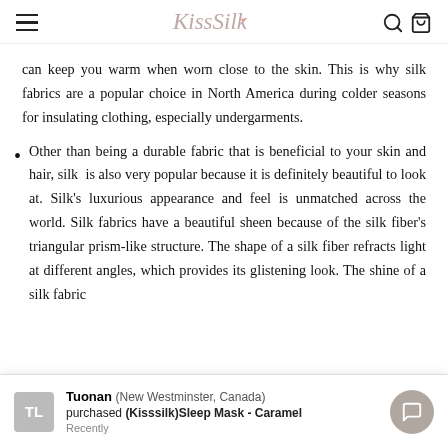KissSilk
can keep you warm when worn close to the skin. This is why silk fabrics are a popular choice in North America during colder seasons for insulating clothing, especially undergarments.
Other than being a durable fabric that is beneficial to your skin and hair, silk is also very popular because it is definitely beautiful to look at. Silk's luxurious appearance and feel is unmatched across the world. Silk fabrics have a beautiful sheen because of the silk fiber's triangular prism-like structure. The shape of a silk fiber refracts light at different angles, which provides its glistening look. The shine of a silk fabric
TL  Tuonan (New Westminster, Canada) purchased (Kisssilk)Sleep Mask - Caramel  Recently